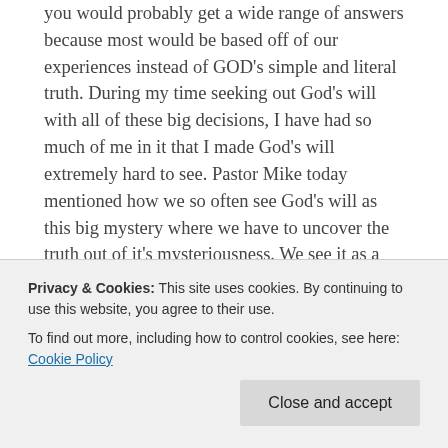you would probably get a wide range of answers because most would be based off of our experiences instead of GOD's simple and literal truth. During my time seeking out God's will with all of these big decisions, I have had so much of me in it that I made God's will extremely hard to see. Pastor Mike today mentioned how we so often see God's will as this big mystery where we have to uncover the truth out of it's mysteriousness. We see it as a mystery because from my example, I couldn't seem to figure it all out so I kept trying harder and harder to decipher this special code or formula that is God's will but in my effort it only led me to be more blind from seeing the simple truth in
Privacy & Cookies: This site uses cookies. By continuing to use this website, you agree to their use.
To find out more, including how to control cookies, see here: Cookie Policy
it, we over analyze, we do this so much that in my case I